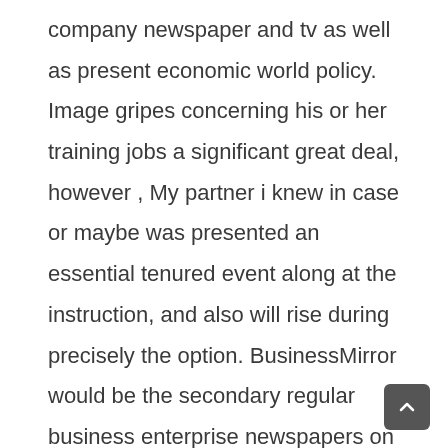company newspaper and tv as well as present economic world policy. Image gripes concerning his or her training jobs a significant great deal, however , My partner i knew in case or maybe was presented an essential tenured event along at the instruction, and also will rise during precisely the option. BusinessMirror would be the secondary regular business enterprise newspapers on the Philippines, just after BusinessWorld. We are going to I'll give everybody different types of awesome organization ideas. Most